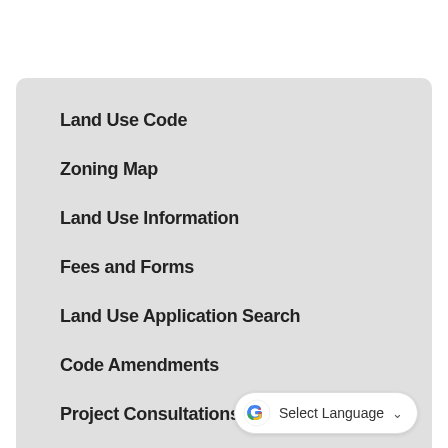Land Use Code
Zoning Map
Land Use Information
Fees and Forms
Land Use Application Search
Code Amendments
Project Consultations